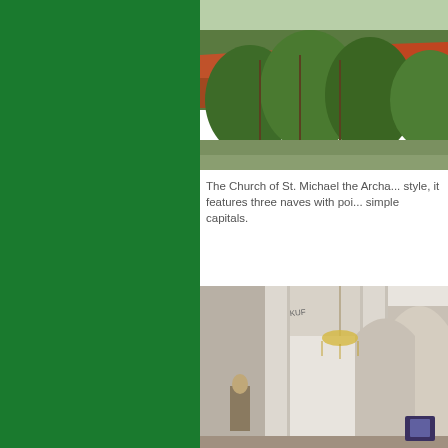[Figure (photo): Outdoor photo showing trees with red-tiled rooftops and Mediterranean vegetation in the background]
The Church of St. Michael the Archa... style, it features three naves with poi... simple capitals.
[Figure (photo): Interior of a church showing white columns, arched ceilings, a chandelier, and religious statues]